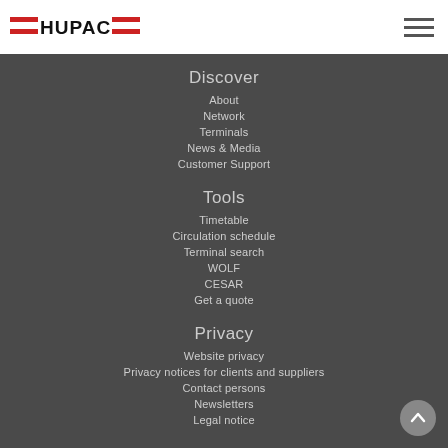[Figure (logo): HUPAC logo with red horizontal bars and bold black text]
Discover
About
Network
Terminals
News & Media
Customer Support
Tools
Timetable
Circulation schedule
Terminal search
WOLF
CESAR
Get a quote
Privacy
Website privacy
Privacy notices for clients and suppliers
Contact persons
Newsletters
Legal notice